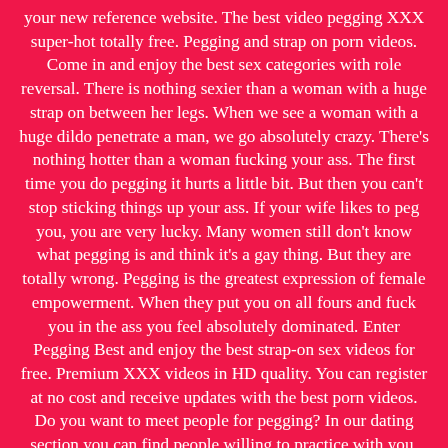your new reference website. The best video pegging XXX super-hot totally free. Pegging and strap on porn videos. Come in and enjoy the best sex categories with role reversal. There is nothing sexier than a woman with a huge strap on between her legs. When we see a woman with a huge dildo penetrate a man, we go absolutely crazy. There's nothing hotter than a woman fucking your ass. The first time you do pegging it hurts a little bit. But then you can't stop sticking things up your ass. If your wife likes to peg you, you are very lucky. Many women still don't know what pegging is and think it's a gay thing. But they are totally wrong. Pegging is the greatest expression of female empowerment. When they put you on all fours and fuck you in the ass you feel absolutely dominated. Enter Pegging Best and enjoy the best strap-on sex videos for free. Premium XXX videos in HD quality. You can register at no cost and receive updates with the best porn videos. Do you want to meet people for pegging? In our dating section you can find people willing to practice with you. We have already tried it and we guarantee that we love to be fucked in the ass by a woman. There is nothing sexier than feeling a cock in your ass and boobs in your back. Every time your wife pushes her dildo hard you can't stop feeling pleasure. There's nothing hotter than cumming while you're getting fucked. Enter Pegging Best and leave your comments and experiences. We want you to share with us what you think